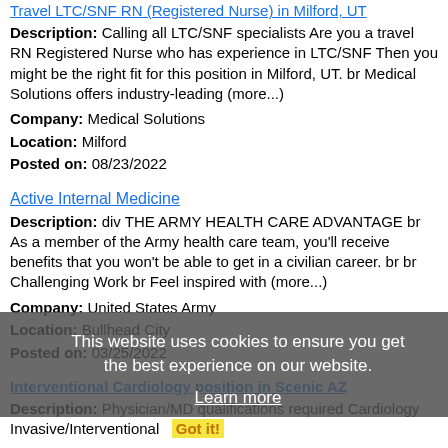Travel LTC/SNF RN (Registered Nurse) in Milford, UT
Description: Calling all LTC/SNF specialists Are you a travel RN Registered Nurse who has experience in LTC/SNF Then you might be the right fit for this position in Milford, UT. br Medical Solutions offers industry-leading (more...)
Company: Medical Solutions
Location: Milford
Posted on: 08/23/2022
Active Internal Medicine
Description: div THE ARMY HEALTH CARE ADVANTAGE br As a member of the Army health care team, you'll receive benefits that you won't be able to get in a civilian career. br br Challenging Work br Feel inspired with (more...)
Company: United States Army
Location: Bullhead City
Posted on: 03/25/2022
Interventional Cardiology position in Scenic AZ
Description: Physician/MD qualifications required Cardiology Invasive/Interventional   Got it!
Company: Medical Search
Location: Bullhead City
Posted on: 08/23/2022